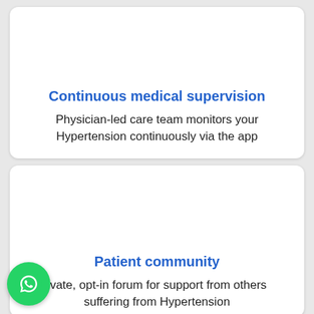Continuous medical supervision
Physician-led care team monitors your Hypertension continuously via the app
Patient community
ivate, opt-in forum for support from others suffering from Hypertension
[Figure (logo): WhatsApp circular green button icon]